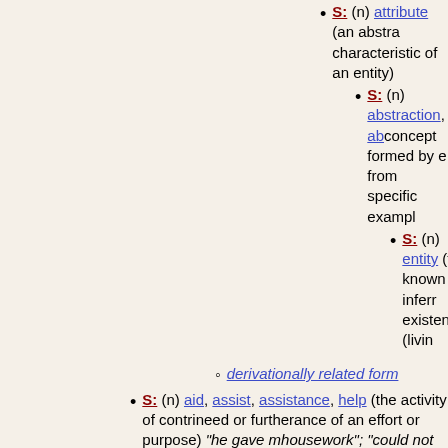S: (n) attribute (an abstract characteristic of an entity)
S: (n) abstraction, ab... concept formed by extracting from specific exampl...
S: (n) entity (th... known or inferr... existence (livin...
derivationally related form
S: (n) aid, assist, assistance, help (the activity of contri... need or furtherance of an effort or purpose) "he gave m... housework"; "could not walk without assistance"; "resc... "offered his help in unloading"
S: (n) aid, economic aid, financial aid, assistance, finan... assistance (gift of money or other material help to supp... "economic assistance to depressed areas"
direct hyponym / full hyponym
direct hypernym / inherited hypernym / sister te...
S: (n) gift (something acquired without com...
S: (n) acquisition (something acquired... museum"
S: (n) transferred property, trans... possession whose ownership ch...
S: (n) possession (anythin...
S: (n) relation (an ab...